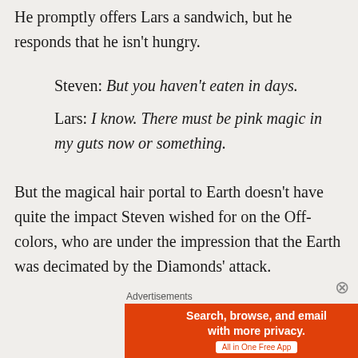He promptly offers Lars a sandwich, but he responds that he isn't hungry.
Steven: But you haven't eaten in days.
Lars: I know. There must be pink magic in my guts now or something.
But the magical hair portal to Earth doesn't have quite the impact Steven wished for on the Off-colors, who are under the impression that the Earth was decimated by the Diamonds' attack.
Advertisements
[Figure (screenshot): DuckDuckGo advertisement banner: orange left side with text 'Search, browse, and email with more privacy. All in One Free App' and dark right side with DuckDuckGo logo and name.]